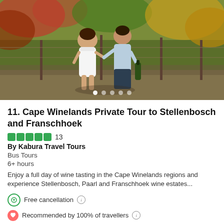[Figure (photo): A couple walking through a vineyard, the woman in a white dress and the man in dark trousers and light blue shirt holding a wine bottle, surrounded by grapevines with autumn foliage]
11. Cape Winelands Private Tour to Stellenbosch and Franschhoek
●●●●● 13
By Kabura Travel Tours
Bus Tours
6+ hours
Enjoy a full day of wine tasting in the Cape Winelands regions and experience Stellenbosch, Paarl and Franschhoek wine estates...
Free cancellation ℹ
Recommended by 100% of travellers ℹ
from
USD 00.00